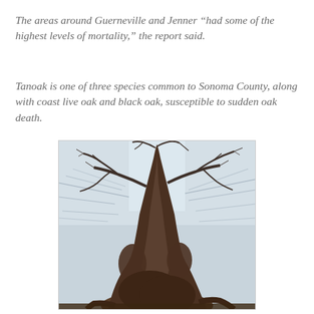The areas around Guerneville and Jenner “had some of the highest levels of mortality,” the report said.
Tanoak is one of three species common to Sonoma County, along with coast live oak and black oak, susceptible to sudden oak death.
[Figure (photo): A dead or dying tanoak tree photographed from below looking up, showing a massive gnarled trunk with bare leafless branches against a pale overcast sky.]